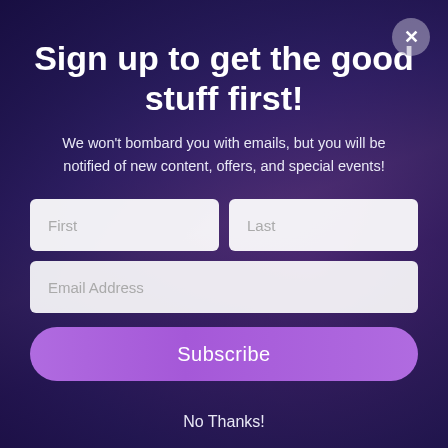[Figure (photo): Dark purple/blue background showing a concert crowd scene with people raising their hands, overlaid with a semi-transparent dark purple gradient]
Sign up to get the good stuff first!
We won't bombard you with emails, but you will be notified of new content, offers, and special events!
First
Last
Email Address
Subscribe
No Thanks!